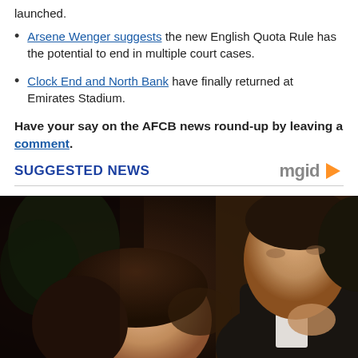launched.
Arsene Wenger suggests the new English Quota Rule has the potential to end in multiple court cases.
Clock End and North Bank have finally returned at Emirates Stadium.
Have your say on the AFCB news round-up by leaving a comment.
SUGGESTED NEWS
[Figure (photo): Two people in close proximity, one looking up at the other. The man is wearing a tuxedo with a bow tie. Dark background with warm bokeh lighting.]